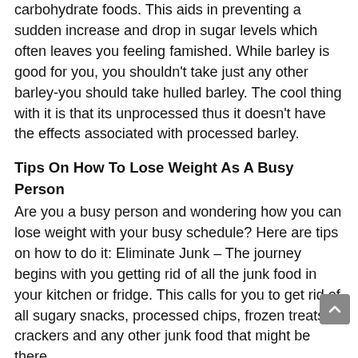carbohydrate foods. This aids in preventing a sudden increase and drop in sugar levels which often leaves you feeling famished. While barley is good for you, you shouldn't take just any other barley-you should take hulled barley. The cool thing with it is that its unprocessed thus it doesn't have the effects associated with processed barley.
Tips On How To Lose Weight As A Busy Person
Are you a busy person and wondering how you can lose weight with your busy schedule? Here are tips on how to do it: Eliminate Junk – The journey begins with you getting rid of all the junk food in your kitchen or fridge. This calls for you to get rid of all sugary snacks, processed chips, frozen treats, crackers and any other junk food that might be there.
Best Weight Loss Supplement – The White Lie
Call it a marketing gimmick, a white lie or a myth, there are no